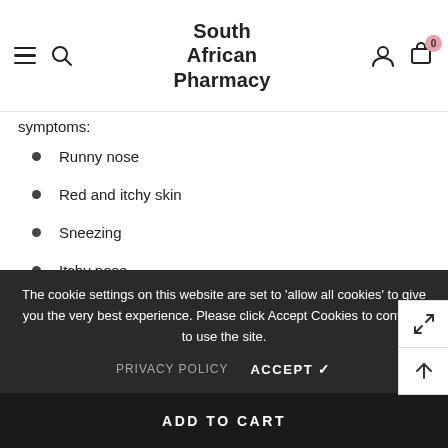South African Pharmacy
symptoms:
Runny nose
Red and itchy skin
Sneezing
Itchy nose
Eye irritation
Skin disorders
The cookie settings on this website are set to 'allow all cookies' to give you the very best experience. Please click Accept Cookies to continue to use the site.
PRIVACY POLICY   ACCEPT ✓
ADD TO CART